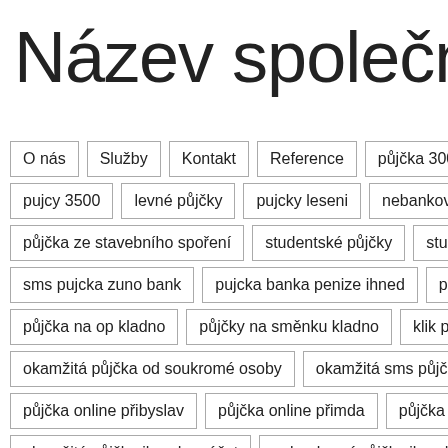Název společnos
O nás
Služby
Kontakt
Reference
půjčka 3000 akce ihned
pujcy 3500
levné půjčky
pujcky leseni
nebankovní půjčky libe
půjčka ze stavebního spoření
studentské půjčky
studentske pujc
sms pujcka zuno bank
pujcka banka penize ihned
půjčky komerč
půjčka na op kladno
půjčky na směnku kladno
klik pujcka
kom
okamžitá půjčka od soukromé osoby
okamžitá sms půjčka
okam
půjčka online přibyslav
půjčka online přimda
půjčka online příbo
okamžitá půjčka ihned na účet
nebankovní půjčky ihned na ruku
10 excuses for not doing your homework
10 facts why homework
10 famous filipino essay writers
10 famous filipino essayist
5 para